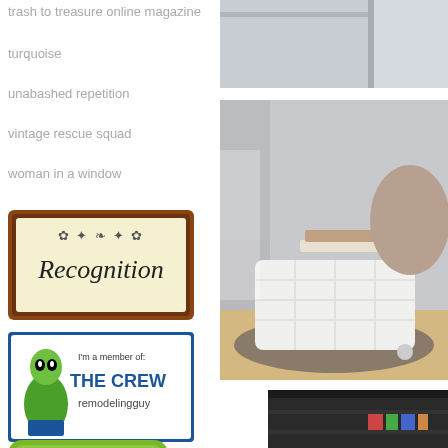trash to treasure online magazine
turquoise
unabashed repetition
vintage rescue squad
woman in a window
[Figure (logo): Recognition badge with ornate brown frame and cursive 'Recognition' text on cream background]
[Figure (logo): The Crew remodeling guy badge with green alien figure, blue and white text 'I'm a member of: THE CREW remodelingguy']
[Figure (logo): Tip Junkie badge, green rounded square with cartoon woman and text 'TIP JUNKIE I WAS']
[Figure (photo): Interior photo showing a white painted wall and ceiling corner]
[Figure (photo): Interior photo showing a white woven/lattice storage basket or ottoman on a rug with books and pillow]
[Figure (photo): Dark interior photo of what appears to be a closet or storage area]